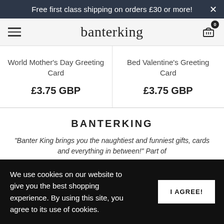Free first class shipping on orders £30 or more! ×
[Figure (logo): Banterking logo with hamburger menu and shopping cart icon showing 0 items]
World Mother's Day Greeting Card £3.75 GBP
Bed Valentine's Greeting Card £3.75 GBP
BANTERKING
"Banter King brings you the naughtiest and funniest gifts, cards and everything in between!" Part of
We use cookies on our website to give you the best shopping experience. By using this site, you agree to its use of cookies.